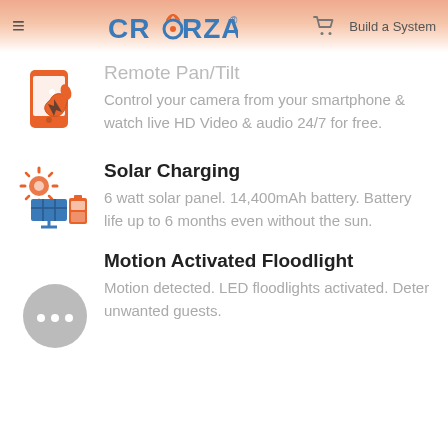CRORZAR — Build a System
Remote Pan/Tilt
Control your camera from your smartphone & watch live HD Video & audio 24/7 for free.
Solar Charging
6 watt solar panel. 14,400mAh battery. Battery life up to 6 months even without the sun.
Motion Activated Floodlight
Motion detected. LED floodlights activated. Deter unwanted guests.